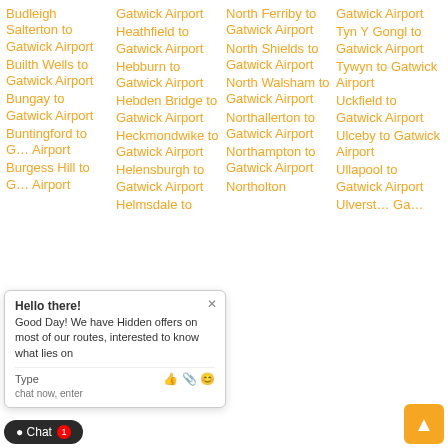Budleigh Salterton to Gatwick Airport
Builth Wells to Gatwick Airport
Bungay to Gatwick Airport
Buntingford to Gatwick Airport
Burgess Hill to Gatwick Airport
Gatwick Airport
Heathfield to Gatwick Airport
Hebburn to Gatwick Airport
Hebden Bridge to Gatwick Airport
Heckmondwike to Gatwick Airport
Helensburgh to Gatwick Airport
Helmsdale to
North Ferriby to Gatwick Airport
North Shields to Gatwick Airport
North Walsham to Gatwick Airport
Northallerton to Gatwick Airport
Northampton to Gatwick Airport
Northolton
Gatwick Airport
Tyn Y Gongl to Gatwick Airport
Tywyn to Gatwick Airport
Uckfield to Gatwick Airport
Ulceby to Gatwick Airport
Ullapool to Gatwick Airport
Ulverston to Gatwick Airport